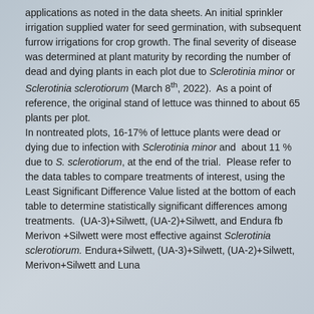applications as noted in the data sheets. An initial sprinkler irrigation supplied water for seed germination, with subsequent furrow irrigations for crop growth. The final severity of disease was determined at plant maturity by recording the number of dead and dying plants in each plot due to Sclerotinia minor or Sclerotinia sclerotiorum (March 8th, 2022).  As a point of reference, the original stand of lettuce was thinned to about 65 plants per plot.
In nontreated plots, 16-17% of lettuce plants were dead or dying due to infection with Sclerotinia minor and  about 11 %  due to S. sclerotiorum, at the end of the trial.  Please refer to the data tables to compare treatments of interest, using the Least Significant Difference Value listed at the bottom of each table to determine statistically significant differences among treatments.  (UA-3)+Silwett, (UA-2)+Silwett, and Endura fb Merivon +Silwett were most effective against Sclerotinia sclerotiorum. Endura+Silwett, (UA-3)+Silwett, (UA-2)+Silwett, Merivon+Silwett and Luna